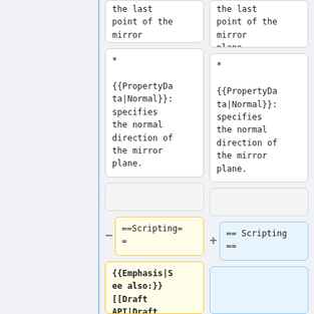the last point of the mirror plane.
the last point of the mirror plane.
* {{PropertyData|Normal}}: specifies the normal direction of the mirror plane.
* {{PropertyData|Normal}}: specifies the normal direction of the mirror plane.
==Scripting==
== Scripting ==
{{Emphasis|See also:}} [[Draft API|Draft API]]...